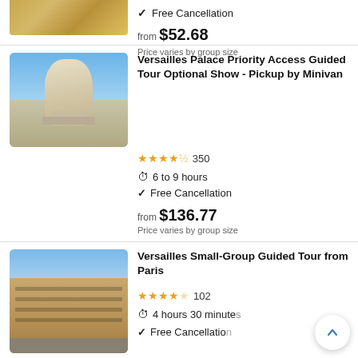[Figure (photo): Partial top image of an ornate interior (gilt ceiling), cut off at top]
✓ Free Cancellation
from $52.68
Price varies by group size
[Figure (photo): Versailles Palace exterior with large classical urn/vase in foreground, blue sky with clouds]
Versailles Palace Priority Access Guided Tour Optional Show - Pickup by Minivan
★★★★½ 350
⏱ 6 to 9 hours
✓ Free Cancellation
from $136.77
Price varies by group size
[Figure (photo): Versailles Palace courtyard exterior facade, ornate French baroque architecture]
Versailles Small-Group Guided Tour from Paris
★★★★☆ 102
⏱ 4 hours 30 minutes
✓ Free Cancellation